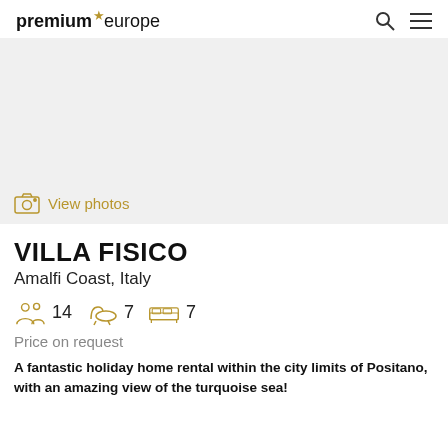premiumeurope
[Figure (photo): Large photo placeholder area for Villa Fisico, light gray background]
View photos
VILLA FISICO
Amalfi Coast, Italy
14 guests, 7 bathrooms, 7 bedrooms
Price on request
A fantastic holiday home rental within the city limits of Positano, with an amazing view of the turquoise sea!